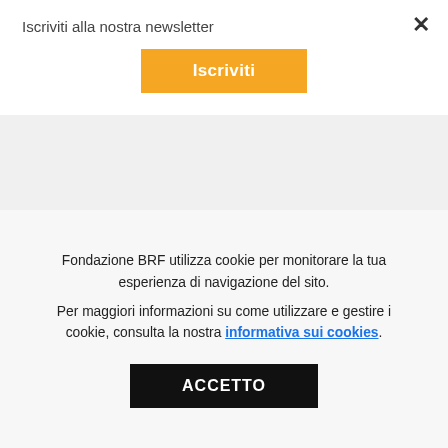Iscriviti alla nostra newsletter
Iscriviti
as a systemic syndrome: mapping the feedback loops of major depressive disorder" by A. K. Wittenborn, H. Rahmandad, J. Rick and N. Hosseinichimeh inPsychological Medicine. Published online December 1 2015 doi:10.1017/S0033291715002044
Fondazione BRF utilizza cookie per monitorare la tua esperienza di navigazione del sito.
Per maggiori informazioni su come utilizzare e gestire i cookie, consulta la nostra informativa sui cookies.
ACCETTO